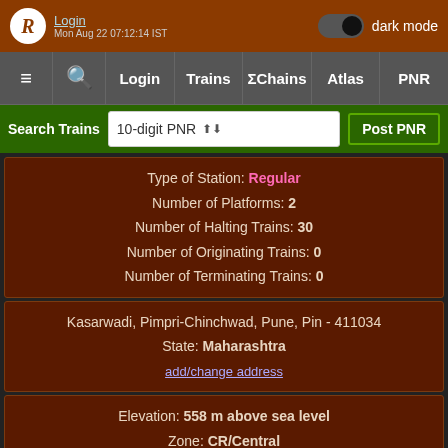Login | dark mode | Mon Aug 22 07:12:14 IST
≡ | 🔍 | Login | Trains | ΣChains | Atlas | PNR
Search Trains | 10-digit PNR | Post PNR
Type of Station: Regular
Number of Platforms: 2
Number of Halting Trains: 30
Number of Originating Trains: 0
Number of Terminating Trains: 0
Kasarwadi, Pimpri-Chinchwad, Pune, Pin - 411034
State: Maharashtra
add/change address
Elevation: 558 m above sea level
Zone: CR/Central
Division: Pune
1 Travel Tips
No Recent News for KSWD/Kasarwadi
Nearby Stations in the News